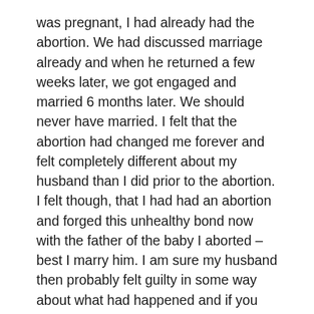was pregnant, I had already had the abortion. We had discussed marriage already and when he returned a few weeks later, we got engaged and married 6 months later. We should never have married. I felt that the abortion had changed me forever and felt completely different about my husband than I did prior to the abortion. I felt though, that I had had an abortion and forged this unhealthy bond now with the father of the baby I aborted – best I marry him. I am sure my husband then probably felt guilty in some way about what had happened and if you asked him today, he would probably agree that we should not have married.
The only conversation my husband and I ever had about the abortion was one in which he said that 'at least we know we can have children.' I never shared with him how it made me feel and was unable to articulate how awful I felt. Everyone around me was